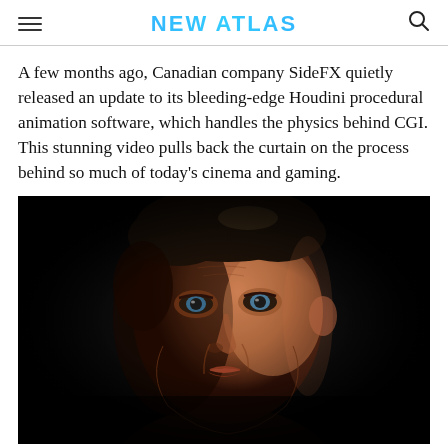NEW ATLAS
A few months ago, Canadian company SideFX quietly released an update to its bleeding-edge Houdini procedural animation software, which handles the physics behind CGI. This stunning video pulls back the curtain on the process behind so much of today's cinema and gaming.
[Figure (photo): A CGI-rendered or motion-captured human face — a middle-aged man with dark hair, lit dramatically against a near-black background, showing photorealistic skin detail.]